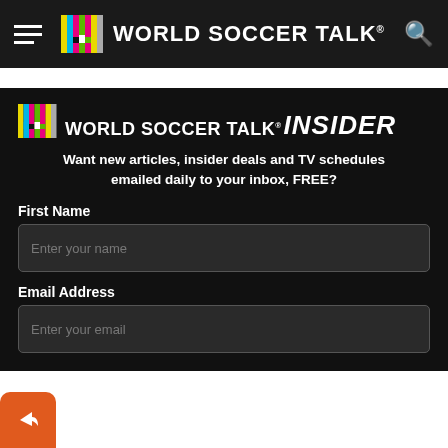World Soccer Talk — navigation bar with hamburger menu, logo, and search icon
[Figure (screenshot): World Soccer Talk Insider signup form on dark background, with TV color bars logo, tagline about free daily email, and input fields for First Name and Email Address]
Want new articles, insider deals and TV schedules emailed daily to your inbox, FREE?
First Name
Enter your name
Email Address
Enter your email